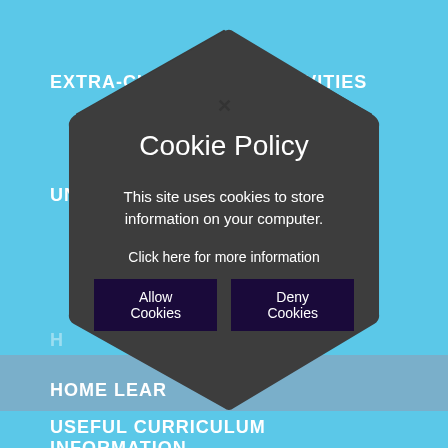EXTRA-CURRICULAR ACTIVITIES
UNIFORM
[Figure (screenshot): Cookie Policy modal dialog overlaid on a school website with a hexagonal dark grey background shape. The modal contains: title 'Cookie Policy', body text 'This site uses cookies to store information on your computer.', link 'Click here for more information', and two buttons 'Allow Cookies' and 'Deny Cookies'. A close X button appears at the top.]
HOME LEARNING
USEFUL CURRICULUM INFORMATION